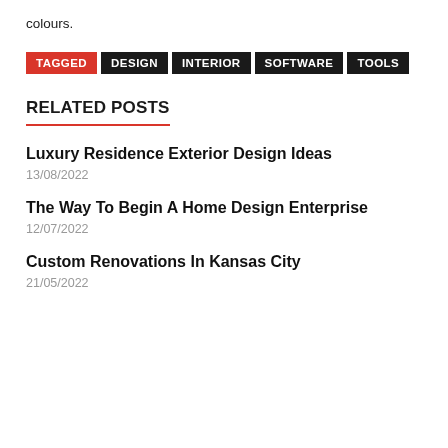colours.
TAGGED DESIGN INTERIOR SOFTWARE TOOLS
RELATED POSTS
Luxury Residence Exterior Design Ideas
13/08/2022
The Way To Begin A Home Design Enterprise
12/07/2022
Custom Renovations In Kansas City
21/05/2022